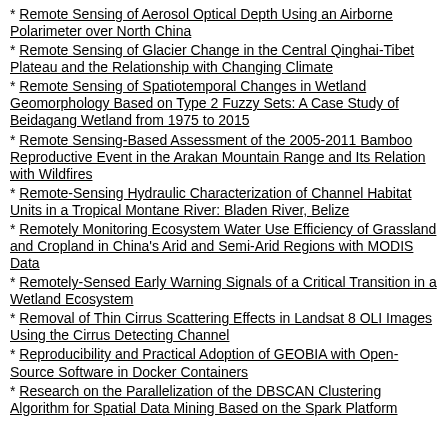Remote Sensing of Aerosol Optical Depth Using an Airborne Polarimeter over North China
Remote Sensing of Glacier Change in the Central Qinghai-Tibet Plateau and the Relationship with Changing Climate
Remote Sensing of Spatiotemporal Changes in Wetland Geomorphology Based on Type 2 Fuzzy Sets: A Case Study of Beidagang Wetland from 1975 to 2015
Remote Sensing-Based Assessment of the 2005-2011 Bamboo Reproductive Event in the Arakan Mountain Range and Its Relation with Wildfires
Remote-Sensing Hydraulic Characterization of Channel Habitat Units in a Tropical Montane River: Bladen River, Belize
Remotely Monitoring Ecosystem Water Use Efficiency of Grassland and Cropland in China's Arid and Semi-Arid Regions with MODIS Data
Remotely-Sensed Early Warning Signals of a Critical Transition in a Wetland Ecosystem
Removal of Thin Cirrus Scattering Effects in Landsat 8 OLI Images Using the Cirrus Detecting Channel
Reproducibility and Practical Adoption of GEOBIA with Open-Source Software in Docker Containers
Research on the Parallelization of the DBSCAN Clustering Algorithm for Spatial Data Mining Based on the Spark Platform